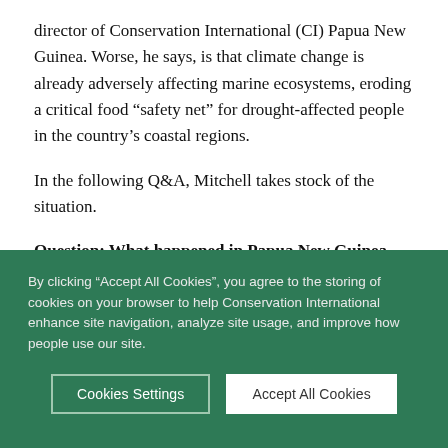director of Conservation International (CI) Papua New Guinea. Worse, he says, is that climate change is already adversely affecting marine ecosystems, eroding a critical food “safety net” for drought-affected people in the country’s coastal regions.
In the following Q&A, Mitchell takes stock of the situation.
Question: What happened in Papua New Guinea, and what is the situation like now?
Answer: The drought started early in June or July and had an impact by October when it rained across much of the country. As
By clicking “Accept All Cookies”, you agree to the storing of cookies on your browser to help Conservation International enhance site navigation, analyze site usage, and improve how people use our site.